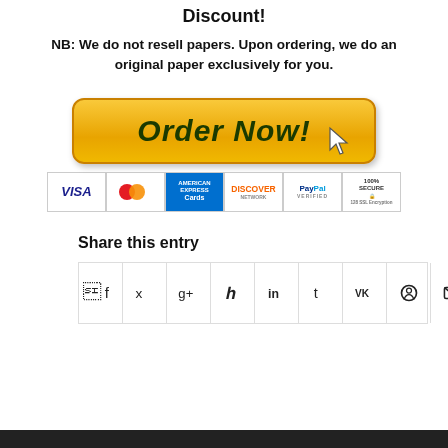Discount!
NB: We do not resell papers. Upon ordering, we do an original paper exclusively for you.
[Figure (other): Orange 'Order Now!' button with cursor arrow, and payment icons: VISA, MasterCard, American Express, Discover, PayPal, 100% Secure 128 SSL Encryption]
Share this entry
[Figure (other): Row of social share icon buttons: Facebook, Twitter, Google+, Pinterest, LinkedIn, Tumblr, VK, Reddit, Email]